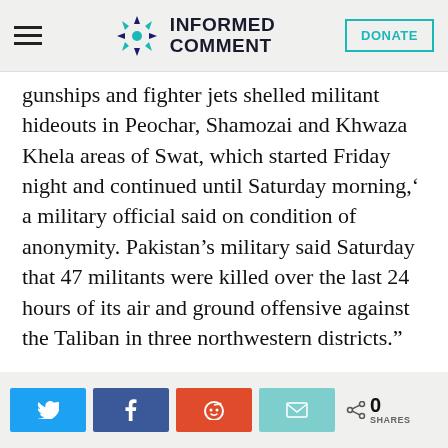INFORMED COMMENT
gunships and fighter jets shelled militant hideouts in Peochar, Shamozai and Khwaza Khela areas of Swat, which started Friday night and continued until Saturday morning,' a military official said on condition of anonymity. Pakistan's military said Saturday that 47 militants were killed over the last 24 hours of its air and ground offensive against the Taliban in three northwestern districts."